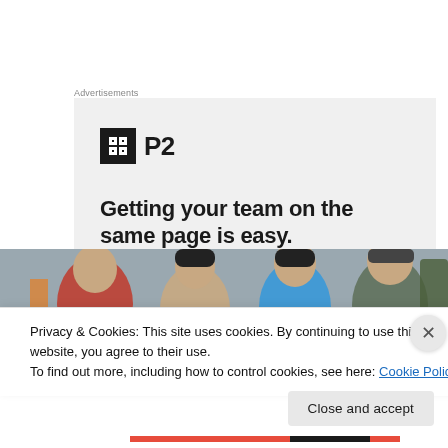Advertisements
[Figure (infographic): P2 advertisement with logo (black square with grid icon and 'P2' text) and headline 'Getting your team on the same page is easy.' on a light gray background]
[Figure (photo): Photo of four smiling people outdoors, appearing to be on a hiking or outdoor expedition]
Privacy & Cookies: This site uses cookies. By continuing to use this website, you agree to their use.
To find out more, including how to control cookies, see here: Cookie Policy
Close and accept